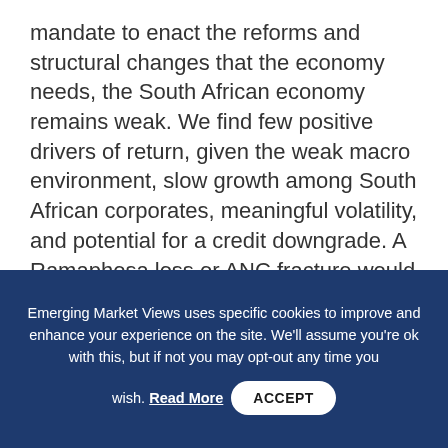mandate to enact the reforms and structural changes that the economy needs, the South African economy remains weak. We find few positive drivers of return, given the weak macro environment, slow growth among South African corporates, meaningful volatility, and potential for a credit downgrade. A Ramaphosa loss or ANC fracture would introduce additional uncertainty and risk.
Among the other countries that will be voting this year, where do you see the
Emerging Market Views uses specific cookies to improve and enhance your experience on the site. We'll assume you're ok with this, but if not you may opt-out any time you wish. Read More  ACCEPT